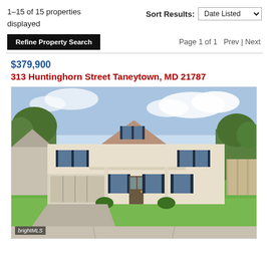1–15 of 15 properties displayed
Sort Results: Date Listed
Refine Property Search
Page 1 of 1   Prev | Next
$379,900
313 Huntinghorn Street Taneytown, MD 21787
[Figure (photo): Exterior photo of a two-story colonial-style house with beige siding, dark shutters, two-car garage, green lawn, and blue sky background. BrightMLS watermark in bottom left.]